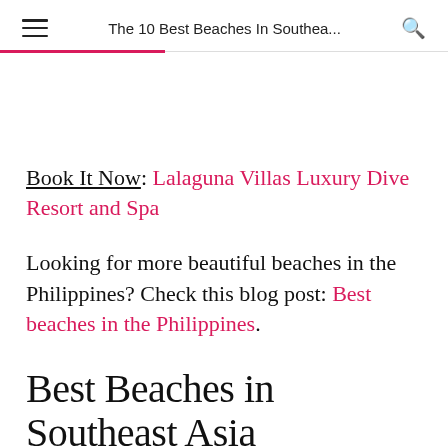The 10 Best Beaches In Southea...
Book It Now: Lalaguna Villas Luxury Dive Resort and Spa
Looking for more beautiful beaches in the Philippines? Check this blog post: Best beaches in the Philippines.
Best Beaches in Southeast Asia